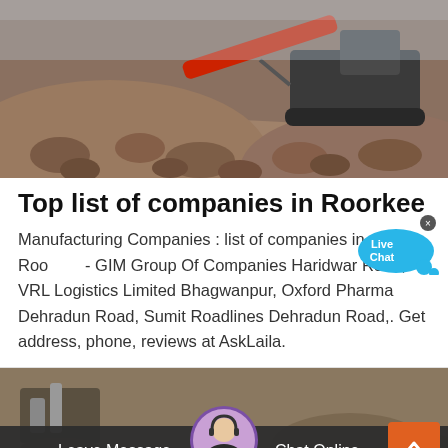[Figure (photo): Construction site with a red and black heavy machinery/crusher on top of a pile of crushed rocks/gravel, outdoor setting]
Top list of companies in Roorkee
Manufacturing Companies : list of companies in Roorkee - GIM Group Of Companies Haridwar Road, VRL Logistics Limited Bhagwanpur, Oxford Pharma Dehradun Road, Sumit Roadlines Dehradun Road,. Get address, phone, reviews at AskLaila.
[Figure (photo): Bottom section showing industrial machinery on the left, a customer service representative avatar in the center, a scroll-to-top orange button on the right, and a dark bottom bar with Leave Message and Chat Online options]